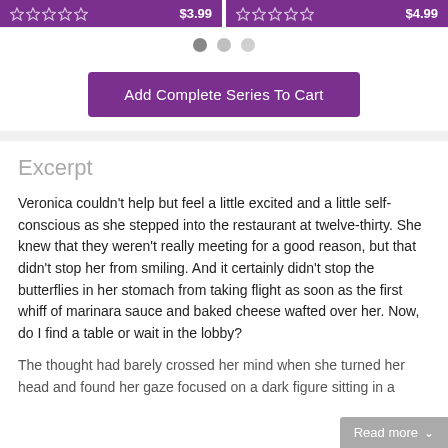[Figure (other): Two product cards side by side with purple background, star ratings and prices ($3.99 and $4.99)]
[Figure (other): Pagination dots: three dots, first active (dark), two inactive (light grey)]
Add Complete Series To Cart
Excerpt
Veronica couldn't help but feel a little excited and a little self-conscious as she stepped into the restaurant at twelve-thirty. She knew that they weren't really meeting for a good reason, but that didn't stop her from smiling. And it certainly didn't stop the butterflies in her stomach from taking flight as soon as the first whiff of marinara sauce and baked cheese wafted over her. Now, do I find a table or wait in the lobby?
The thought had barely crossed her mind when she turned her head and found her gaze focused on a dark figure sitting in a corner
Read more